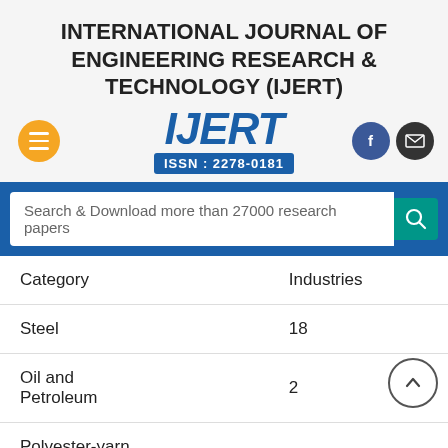INTERNATIONAL JOURNAL OF ENGINEERING RESEARCH & TECHNOLOGY (IJERT)
[Figure (logo): IJERT logo with ISSN: 2278-0181, hamburger menu button, Facebook and mail social icons]
Search & Download more than 27000 research papers
| Category | Industries |
| --- | --- |
| Steel | 18 |
| Oil and Petroleum | 2 |
| Polyester-yarn (With 30 MW CPP) | 2 |
| Food Manufacturing |  |